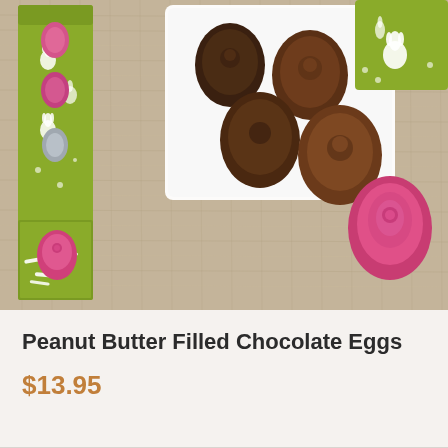[Figure (photo): Product photo showing Easter chocolate eggs in a green gift box with white bunny pattern. Pink foil-wrapped chocolate eggs are visible inside the open box. On a white rectangular plate sit several dark and milk chocolate molded eggs with floral designs. A pink foil egg rests on a burlap/linen background beside the plate. A matching green bunny-patterned gift box is visible in the upper right. The background is a natural tan burlap texture.]
Peanut Butter Filled Chocolate Eggs
$13.95